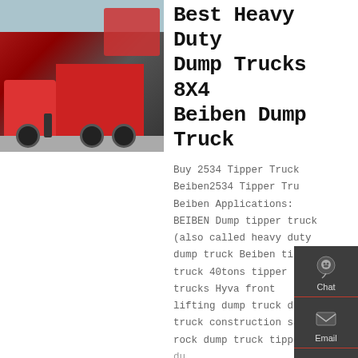[Figure (photo): Red heavy duty dump trucks parked, with a person standing nearby, industrial setting with grey sky]
Best Heavy Duty Dump Trucks 8X4 Beiben Dump Truck
Buy 2534 Tipper Truck Beiben2534 Tipper Tru Beiben Applications: BEIBEN Dump tipper truck (also called heavy duty dump truck Beiben tipper truck 40tons tipper trucks Hyva front lifting dump truck dum truck construction sa rock dump truck tipper
[Figure (infographic): Dark sidebar panel with Chat, Email, Contact, and Top navigation icons]